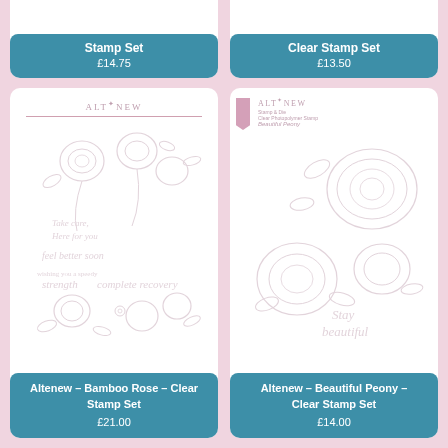[Figure (illustration): Altenew stamp set product card cropped at top showing teal banner with 'Stamp Set' and price £14.75]
[Figure (illustration): Altenew clear stamp set product card cropped at top showing teal banner with 'Clear Stamp Set' and price £13.50]
[Figure (illustration): Altenew Bamboo Rose Clear Stamp Set product card with stamp sheet image showing roses and sentiments, Altenew logo]
Altenew – Bamboo Rose – Clear Stamp Set
£21.00
[Figure (illustration): Altenew Beautiful Peony Clear Stamp Set product card with stamp sheet image showing peonies and Stay Beautiful sentiment, Altenew logo]
Altenew – Beautiful Peony – Clear Stamp Set
£14.00